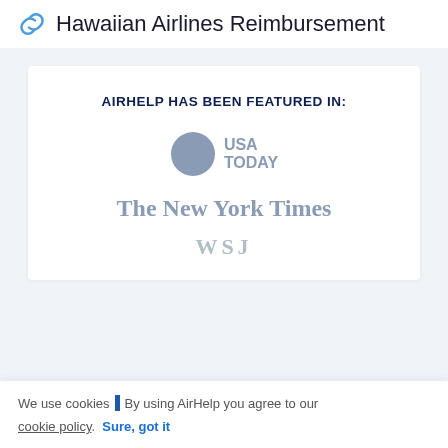Hawaiian Airlines Reimbursement
AIRHELP HAS BEEN FEATURED IN:
[Figure (logo): USA TODAY logo with grey circle icon and bold grey text]
[Figure (logo): The New York Times logo in grey serif font]
[Figure (logo): WSJ logo partially visible in grey]
We use cookies  By using AirHelp you agree to our cookie policy.  Sure, got it